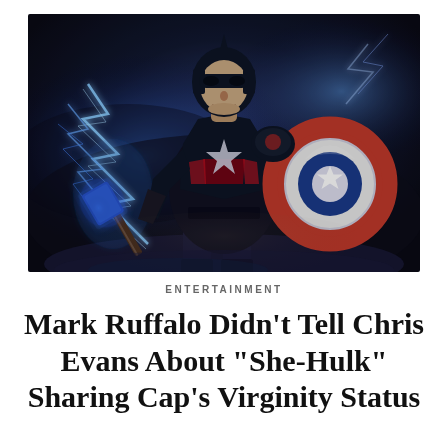[Figure (illustration): Captain America in dark suit holding Mjolnir (Thor's hammer) with blue lightning effects in left hand and his iconic red-white-blue shield in right hand, dramatic dark background with lightning and glowing effects, digital art style]
ENTERTAINMENT
Mark Ruffalo Didn't Tell Chris Evans About “She-Hulk” Sharing Cap’s Virginity Status